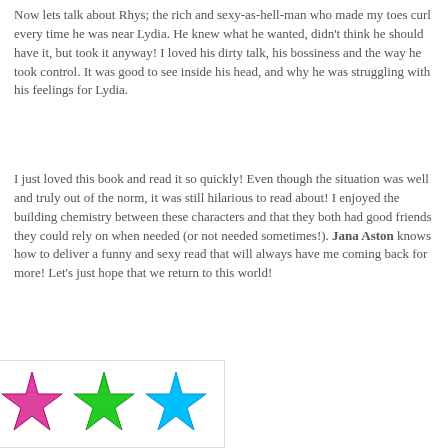Now lets talk about Rhys; the rich and sexy-as-hell-man who made my toes curl every time he was near Lydia. He knew what he wanted, didn't think he should have it, but took it anyway! I loved his dirty talk, his bossiness and the way he took control. It was good to see inside his head, and why he was struggling with his feelings for Lydia.
I just loved this book and read it so quickly! Even though the situation was well and truly out of the norm, it was still hilarious to read about! I enjoyed the building chemistry between these characters and that they both had good friends they could rely on when needed (or not needed sometimes!). Jana Aston knows how to deliver a funny and sexy read that will always have me coming back for more! Let's just hope that we return to this world!
[Figure (other): Five colorful stars rating: yellow, pink/magenta, green, cyan/blue, and orange (partial) stars arranged in a row inside a white bordered box]